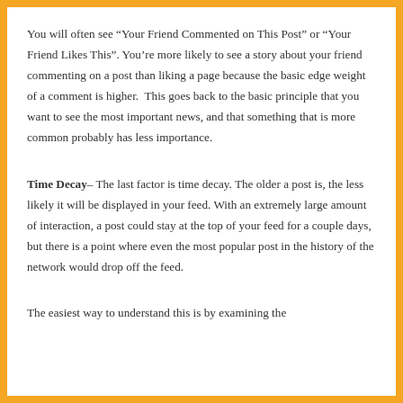You will often see “Your Friend Commented on This Post” or “Your Friend Likes This”. You’re more likely to see a story about your friend commenting on a post than liking a page because the basic edge weight of a comment is higher.  This goes back to the basic principle that you want to see the most important news, and that something that is more common probably has less importance.
Time Decay– The last factor is time decay. The older a post is, the less likely it will be displayed in your feed. With an extremely large amount of interaction, a post could stay at the top of your feed for a couple days, but there is a point where even the most popular post in the history of the network would drop off the feed.
The easiest way to understand this is by examining the